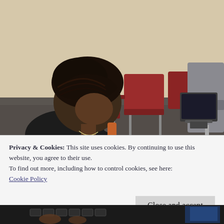[Figure (photo): A woman with an elaborate braided updo hairstyle sits in a waiting room with red airport-style chairs. She is wearing a dark top and a necklace, viewed from a slightly elevated angle. A laptop or monitor is visible to her right. The background shows a beige wall and grey/red seating.]
Privacy & Cookies: This site uses cookies. By continuing to use this website, you agree to their use.
To find out more, including how to control cookies, see here:
Cookie Policy
Close and accept
[Figure (photo): Bottom strip showing a partial view of a person at a computer/keyboard, partially cropped.]